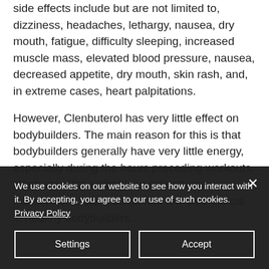side effects include but are not limited to, dizziness, headaches, lethargy, nausea, dry mouth, fatigue, difficulty sleeping, increased muscle mass, elevated blood pressure, nausea, decreased appetite, dry mouth, skin rash, and, in extreme cases, heart palpitations.
However, Clenbuterol has very little effect on bodybuilders. The main reason for this is that bodybuilders generally have very little energy, especially during the hours preceding workouts, clenbuterol for weight loss side effects. Furthermore, Clenbuterol has few side effects in healthy bodybuilders...
We use cookies on our website to see how you interact with it. By accepting, you agree to our use of such cookies. Privacy Policy